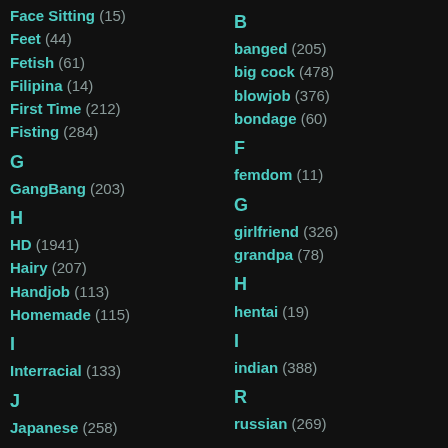Face Sitting (15)
Feet (44)
Fetish (61)
Filipina (14)
First Time (212)
Fisting (284)
G
GangBang (203)
H
HD (1941)
Hairy (207)
Handjob (113)
Homemade (115)
I
Interracial (133)
J
Japanese (258)
B
banged (205)
big cock (478)
blowjob (376)
bondage (60)
F
femdom (11)
G
girlfriend (326)
grandpa (78)
H
hentai (19)
I
indian (388)
R
russian (269)